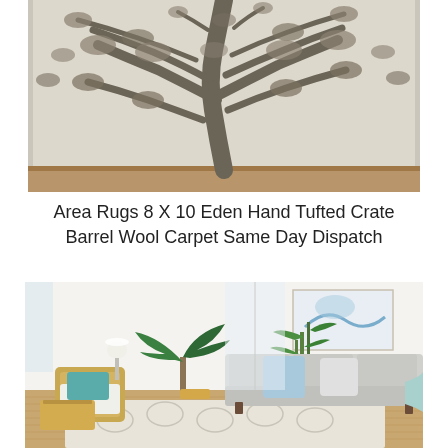[Figure (photo): Close-up photo of a textured cream and grey area rug with a tree/leaf relief pattern, placed on a wooden floor]
Area Rugs 8 X 10 Eden Hand Tufted Crate Barrel Wool Carpet Same Day Dispatch
[Figure (photo): Bright living room interior with a light grey sofa with blue and white throw pillows, a wicker chair with teal cushion, indoor plants, and a white patterned area rug on a hardwood floor]